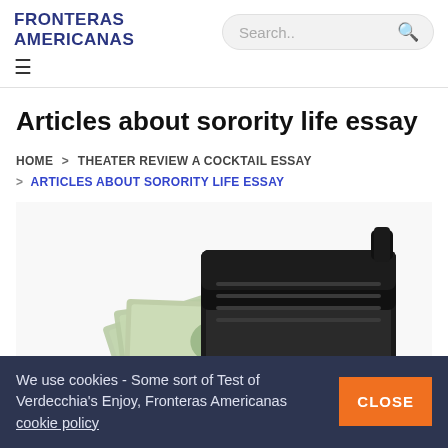FRONTERAS AMERICANAS
Articles about sorority life essay
HOME > THEATER REVIEW A COCKTAIL ESSAY > ARTICLES ABOUT SORORITY LIFE ESSAY
[Figure (photo): A black leather wallet stuffed with US dollar bills (100 dollar bills visible), photographed on a white background.]
We use cookies - Some sort of Test of Verdecchia's Enjoy, Fronteras Americanas cookie policy